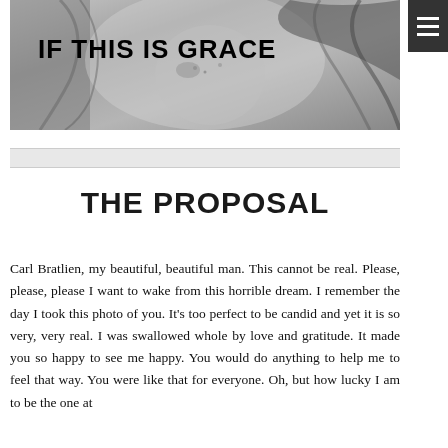[Figure (photo): Black and white photo of a person and horse, used as website header banner with title 'IF THIS IS GRACE' overlaid]
THE PROPOSAL
Carl Bratlien, my beautiful, beautiful man. This cannot be real. Please, please, please I want to wake from this horrible dream. I remember the day I took this photo of you. It's too perfect to be candid and yet it is so very, very real. I was swallowed whole by love and gratitude. It made you so happy to see me happy. You would do anything to help me to feel that way. You were like that for everyone. Oh, but how lucky I am to be the one at the center of your love, your devotion, your love.